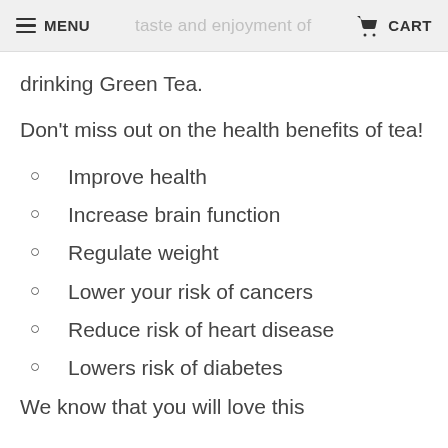MENU  taste and enjoyment of  CART
drinking Green Tea.
Don't miss out on the health benefits of tea!
Improve health
Increase brain function
Regulate weight
Lower your risk of cancers
Reduce risk of heart disease
Lowers risk of diabetes
We know that you will love this